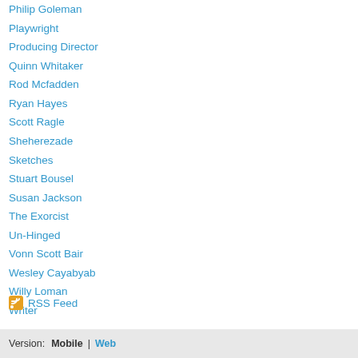Philip Goleman
Playwright
Producing Director
Quinn Whitaker
Rod Mcfadden
Ryan Hayes
Scott Ragle
Sheherezade
Sketches
Stuart Bousel
Susan Jackson
The Exorcist
Un-Hinged
Vonn Scott Bair
Wesley Cayabyab
Willy Loman
Writer
[Figure (logo): RSS feed icon (orange square with white wave signal)]
RSS Feed
Version: Mobile | Web